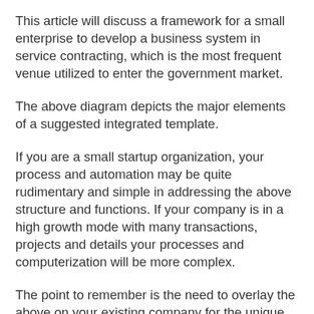This article will discuss a framework for a small enterprise to develop a business system in service contracting, which is the most frequent venue utilized to enter the government market.
The above diagram depicts the major elements of a suggested integrated template.
If you are a small startup organization, your process and automation may be quite rudimentary and simple in addressing the above structure and functions. If your company is in a high growth mode with many transactions, projects and details your processes and computerization will be more complex.
The point to remember is the need to overlay the above on your existing company for the unique products and services you provide, and then address